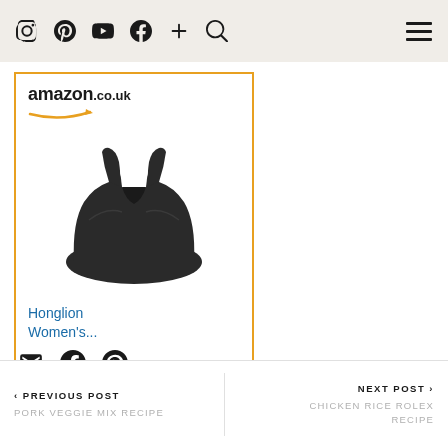Navigation bar with icons: Instagram, Pinterest, YouTube, Facebook, Plus, Search, Hamburger menu
[Figure (screenshot): Amazon.co.uk advertisement for Honglion Women's sports bra (black), with Shop now button]
[Figure (other): Social share icons: email, Facebook, Pinterest]
< PREVIOUS POST  PORK VEGGIE MIX  RECIPE
NEXT POST >  CHICKEN RICE ROLEX RECIPE